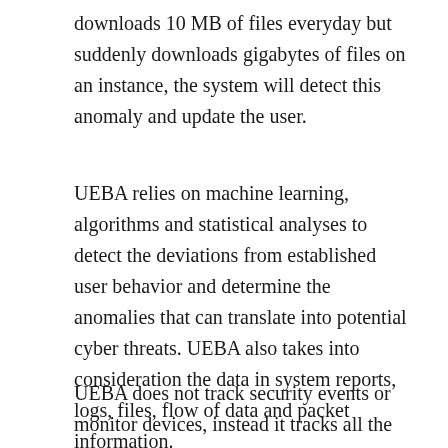downloads 10 MB of files everyday but suddenly downloads gigabytes of files on an instance, the system will detect this anomaly and update the user.
UEBA relies on machine learning, algorithms and statistical analyses to detect the deviations from established user behavior and determine the anomalies that can translate into potential cyber threats. UEBA also takes into consideration the data in system reports, logs, files, flow of data and packet information.
UEBA does not track security events or monitor devices, instead it tracks all the users and entities in the system. The main focus of UEBA is insider